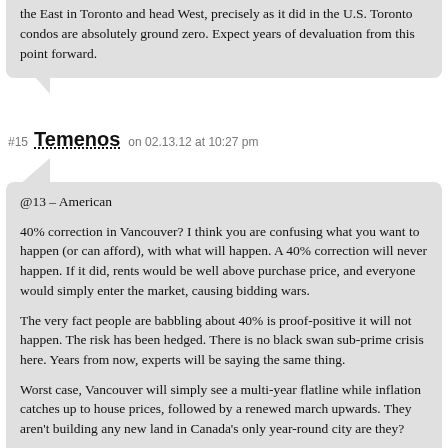the East in Toronto and head West, precisely as it did in the U.S. Toronto condos are absolutely ground zero. Expect years of devaluation from this point forward.
#15 Temenos on 02.13.12 at 10:27 pm
@13 – American

40% correction in Vancouver? I think you are confusing what you want to happen (or can afford), with what will happen. A 40% correction will never happen. If it did, rents would be well above purchase price, and everyone would simply enter the market, causing bidding wars.

The very fact people are babbling about 40% is proof-positive it will not happen. The risk has been hedged. There is no black swan sub-prime crisis here. Years from now, experts will be saying the same thing.

Worst case, Vancouver will simply see a multi-year flatline while inflation catches up to house prices, followed by a renewed march upwards. They aren't building any new land in Canada's only year-round city are they?

You have my sympathies